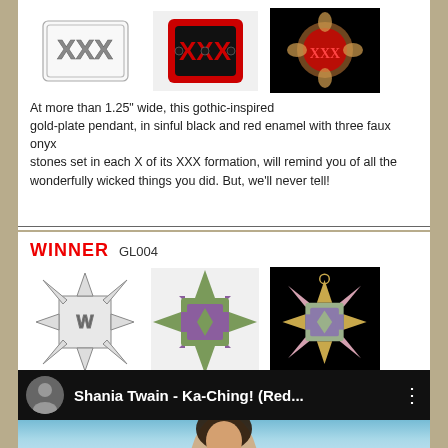[Figure (illustration): Three views of a gothic-inspired XXX pendant: outline sketch, colored design, and photo on black background]
At more than 1.25" wide, this gothic-inspired gold-plate pendant, in sinful black and red enamel with three faux onyx stones set in each X of its XXX formation, will remind you of all the wonderfully wicked things you did.  But, we'll never tell!
WINNER  GL004
[Figure (illustration): Three views of the WINNER pendant: outline sketch, colored green and violet design, and photo on black background]
This elegant, balanced 1" tall and wide pendant gives you the WINNER's advantage in all things.  In sumptuous shades of green and violet outlined in black enamel.  Be a WINNER wherever you go.
[Figure (screenshot): YouTube video thumbnail showing Shania Twain - Ka-Ching! (Red... with channel avatar and three-dot menu]